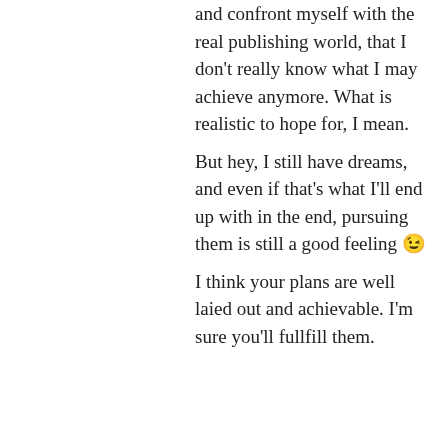and confront myself with the real publishing world, that I don't really know what I may achieve anymore. What is realistic to hope for, I mean.
But hey, I still have dreams, and even if that's what I'll end up with in the end, pursuing them is still a good feeling 😉
I think your plans are well laied out and achievable. I'm sure you'll fullfill them.
Liked by 1 person
↪ Reply
rolandclarke on December 19, 2016 at 2:31 am
Hi Sarah, Health has to be my priority, and